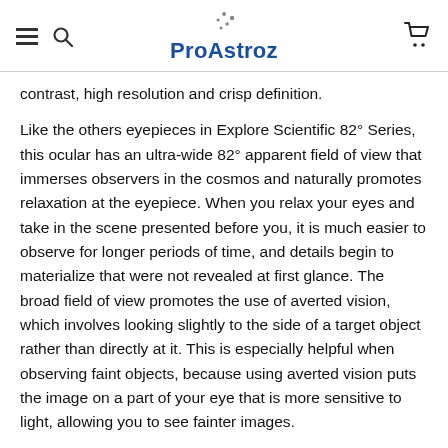ProAstroz
contrast, high resolution and crisp definition.
Like the others eyepieces in Explore Scientific 82° Series, this ocular has an ultra-wide 82° apparent field of view that immerses observers in the cosmos and naturally promotes relaxation at the eyepiece. When you relax your eyes and take in the scene presented before you, it is much easier to observe for longer periods of time, and details begin to materialize that were not revealed at first glance. The broad field of view promotes the use of averted vision, which involves looking slightly to the side of a target object rather than directly at it. This is especially helpful when observing faint objects, because using averted vision puts the image on a part of your eye that is more sensitive to light, allowing you to see fainter images.
All Explore Scientific Waterproof Eyepieces are gas-purged and